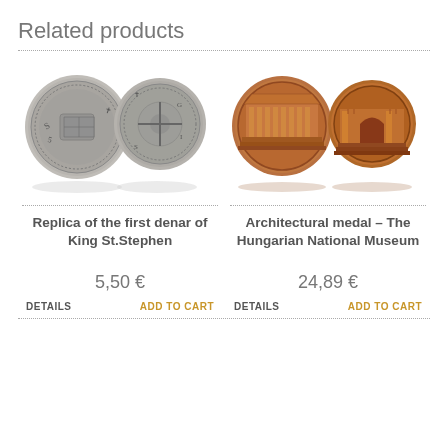Related products
[Figure (photo): Two silver-colored medieval coin replicas (obverse and reverse) of the first denar of King St. Stephen]
Replica of the first denar of King St.Stephen
5,50 €
DETAILS
ADD TO CART
[Figure (photo): Two copper-colored architectural medals showing The Hungarian National Museum (front facade and entrance)]
Architectural medal – The Hungarian National Museum
24,89 €
DETAILS
ADD TO CART